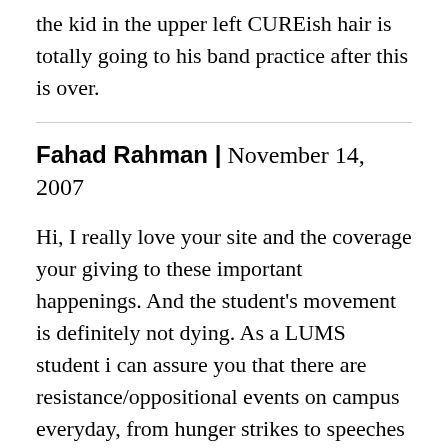the kid in the upper left CUREish hair is totally going to his band practice after this is over.
Fahad Rahman | November 14, 2007
Hi, I really love your site and the coverage your giving to these important happenings. And the student's movement is definitely not dying. As a LUMS student i can assure you that there are resistance/oppositional events on campus everyday, from hunger strikes to speeches from the student